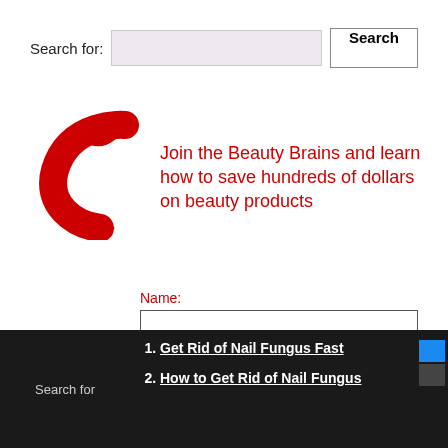Search for:
[Figure (illustration): Red curved arrow pointing downward-left, used as a decorative prompt symbol next to promotional text]
Join the Beauty Brains and learn how to save hundreds of dollars on beauty products
Name:
Email:
SIGN UP NOW!
Search for
1. Get Rid of Nail Fungus Fast
2. How to Get Rid of Nail Fungus